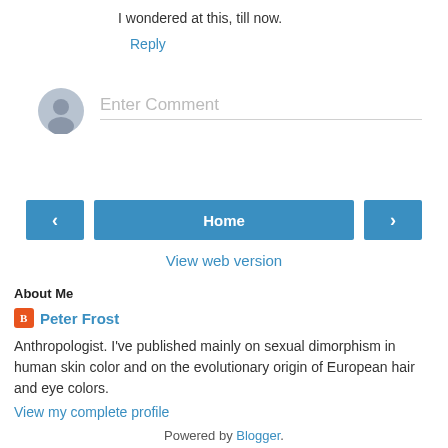I wondered at this, till now.
Reply
[Figure (illustration): Default user avatar icon — circular grey profile silhouette]
Enter Comment
‹  Home  ›  (navigation buttons)
View web version
About Me
Peter Frost
Anthropologist. I've published mainly on sexual dimorphism in human skin color and on the evolutionary origin of European hair and eye colors.
View my complete profile
Powered by Blogger.